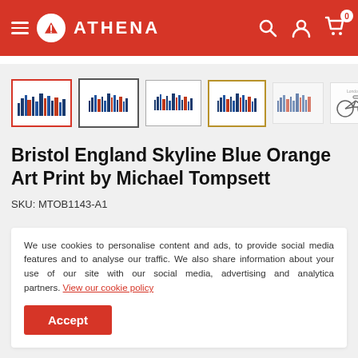[Figure (screenshot): Athena website header with red background, hamburger menu, Athena logo, search icon, user icon, and cart icon with 0 badge]
[Figure (photo): Product thumbnail row showing 6 framed versions of Bristol England Skyline Blue Orange Art Print — first with red border (active), others with dark, white, gold, no-frame variants, and a bicycle print]
Bristol England Skyline Blue Orange Art Print by Michael Tompsett
SKU: MTOB1143-A1
We use cookies to personalise content and ads, to provide social media features and to analyse our traffic. We also share information about your use of our site with our social media, advertising and analytica partners. View our cookie policy